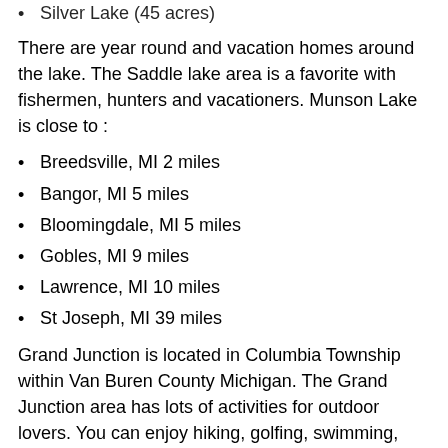Silver Lake (45 acres)
There are year round and vacation homes around the lake. The Saddle lake area is a favorite with fishermen, hunters and vacationers. Munson Lake is close to :
Breedsville, MI 2 miles
Bangor, MI 5 miles
Bloomingdale, MI 5 miles
Gobles, MI 9 miles
Lawrence, MI 10 miles
St Joseph, MI 39 miles
Grand Junction is located in Columbia Township within Van Buren County Michigan. The Grand Junction area has lots of activities for outdoor lovers. You can enjoy hiking, golfing, swimming, horseback riding, boating, hunting and fishing.The Kal-Haven Trail runs through Grand Junction and there are a lot of lakes in the area.
If you are looking for a home near Munson lake in Grand Junction...